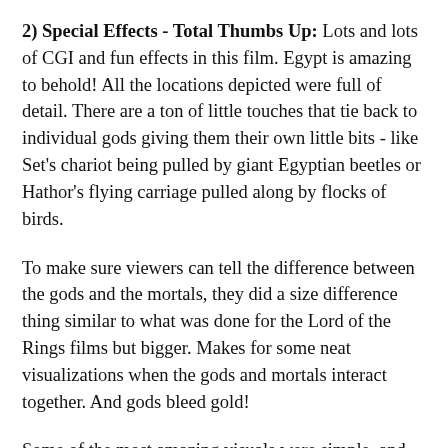2) Special Effects - Total Thumbs Up: Lots and lots of CGI and fun effects in this film. Egypt is amazing to behold! All the locations depicted were full of detail. There are a ton of little touches that tie back to individual gods giving them their own little bits - like Set's chariot being pulled by giant Egyptian beetles or Hathor's flying carriage pulled along by flocks of birds.
To make sure viewers can tell the difference between the gods and the mortals, they did a size difference thing similar to what was done for the Lord of the Rings films but bigger. Makes for some neat visualizations when the gods and mortals interact together. And gods bleed gold!
Some of the most amazing visuals were simple, and made all the more convincing in the eye of it. The bird along with the...